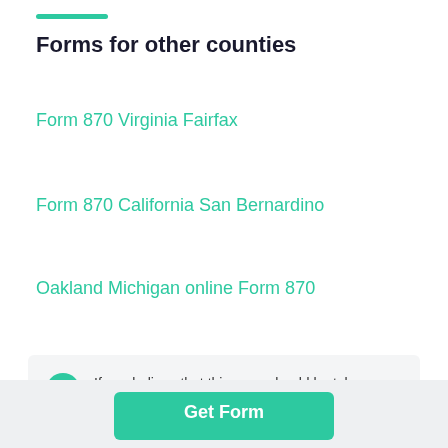Forms for other counties
Form 870 Virginia Fairfax
Form 870 California San Bernardino
Oakland Michigan online Form 870
If you believe that this page should be taken down, please follow our DMCA take down process here.
Get Form